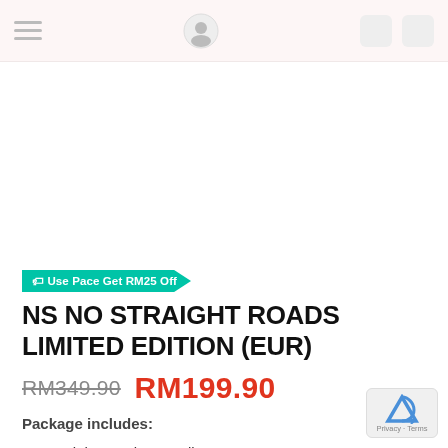[Figure (other): Product image area (white/blank product photo space)]
🏷 Use Pace Get RM25 Off
NS NO STRAIGHT ROADS LIMITED EDITION (EUR)
RM349.90  RM199.90
Package includes:
No Straight Road game disc x1